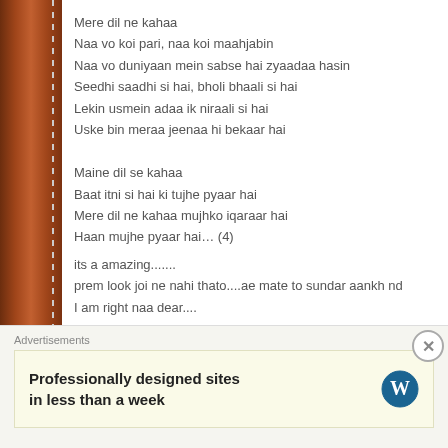Mere dil ne kahaa
Naa vo koi pari, naa koi maahjabin
Naa vo duniyaan mein sabse hai zyaadaa hasin
Seedhi saadhi si hai, bholi bhaali si hai
Lekin usmein adaa ik niraali si hai
Uske bin meraa jeenaa hi bekaar hai

Maine dil se kahaa
Baat itni si hai ki tujhe pyaar hai
Mere dil ne kahaa mujhko iqaraar hai
Haan mujhe pyaar hai… (4)
its a amazing.......
prem look joi ne nahi thato....ae mate to sundar aankh nd
I am right naa dear....
★ Like
👍 0 👎 0 ℹ Rate This
Advertisements
Professionally designed sites in less than a week